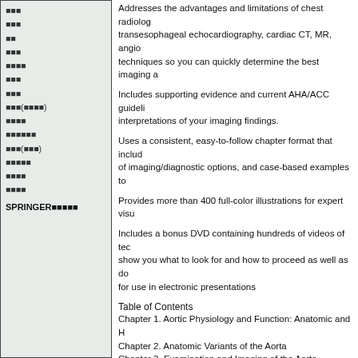Addresses the advantages and limitations of chest radiology, transesophageal echocardiography, cardiac CT, MR, angio techniques so you can quickly determine the best imaging a
Includes supporting evidence and current AHA/ACC guideli interpretations of your imaging findings.
Uses a consistent, easy-to-follow chapter format that includ of imaging/diagnostic options, and case-based examples to
Provides more than 400 full-color illustrations for expert visu
Includes a bonus DVD containing hundreds of videos of tec show you what to look for and how to proceed as well as do for use in electronic presentations
Table of Contents
Chapter 1. Aortic Physiology and Function: Anatomic and H
Chapter 2. Anatomic Variants of the Aorta
Chapter 3. Examination and Imaging of the Aorta
Chapter 4. Acute Aortic Dissection
Chapter 5. Aortic Intramural Hematoma
Chapter 6. Late Complications of Aortic Dissection
Chapter 7. Aortic Complications of Catheterization, Surgery
Chapter 8. Aortic Atheromatous Disease: Plaques, Debris a
Chapter 9. Aortic Atheromatous Disease: Thrombosis, Thro Atheroembolism
Chapter 10. Aortic Atheromatous Disease: Ulcers and Pene
Chapter 11. Thoracic Aortic Aneurysms